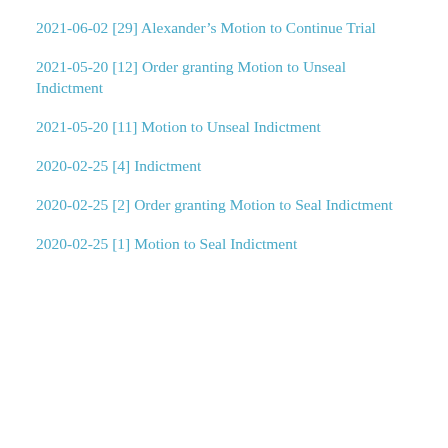2021-06-02 [29] Alexander’s Motion to Continue Trial
2021-05-20 [12] Order granting Motion to Unseal Indictment
2021-05-20 [11] Motion to Unseal Indictment
2020-02-25 [4] Indictment
2020-02-25 [2] Order granting Motion to Seal Indictment
2020-02-25 [1] Motion to Seal Indictment